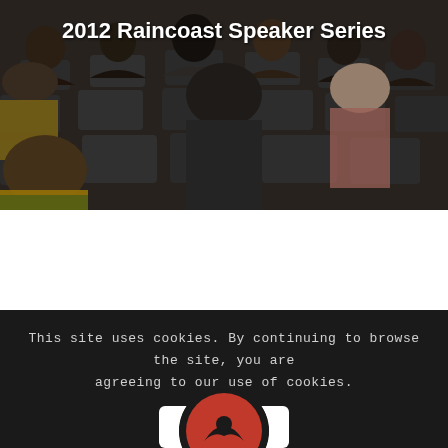[Figure (photo): Photo of an audience seated in chairs at an event, viewed from behind, with white text overlay reading '2012 Raincoast Speaker Series']
2012 Raincoast Speaker Series
This site uses cookies. By continuing to browse the site, you are agreeing to our use of cookies.